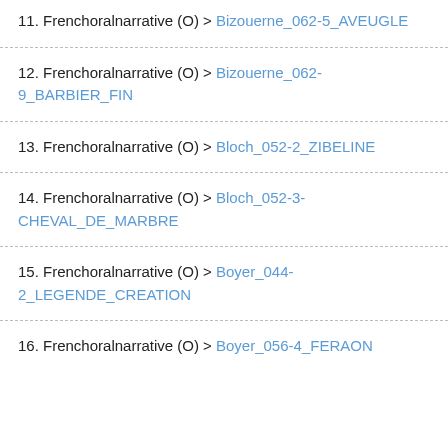11. Frenchoralnarrative (O) > Bizouerne_062-5_AVEUGLE
12. Frenchoralnarrative (O) > Bizouerne_062-9_BARBIER_FIN
13. Frenchoralnarrative (O) > Bloch_052-2_ZIBELINE
14. Frenchoralnarrative (O) > Bloch_052-3-CHEVAL_DE_MARBRE
15. Frenchoralnarrative (O) > Boyer_044-2_LEGENDE_CREATION
16. Frenchoralnarrative (O) > Boyer_056-4_FERAON